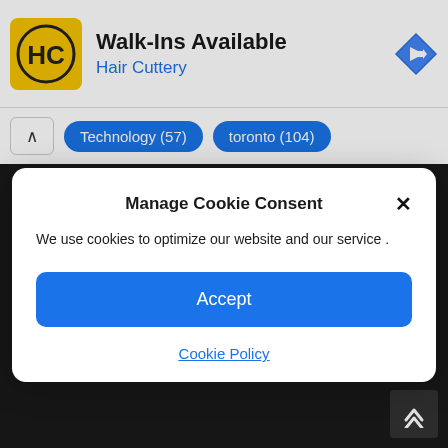[Figure (screenshot): Hair Cuttery ad banner with yellow logo showing HC letters, Walk-Ins Available title, and blue navigation arrow icon]
Walk-Ins Available
Hair Cuttery
Technology (57)
toronto (104)
Manage Cookie Consent
We use cookies to optimize our website and our service .
Accept
Cookie Policy
Search
[Figure (screenshot): Search input field with blue search button containing magnifying glass icon, and dark scroll-to-top button at bottom right]